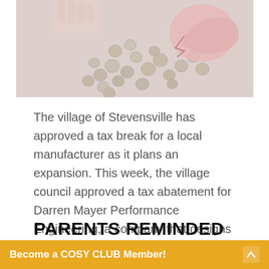[Figure (photo): A broken pink piggy bank with coins scattered around it on a white surface, with a hand visible in the background]
The village of Stevensville has approved a tax break for a local manufacturer as it plans an expansion. This week, the village council approved a tax abatement for Darren Mayer Performance Engineering, a company that designs custom
READ MORE
PARENTS REMINDED TO PROMOTE BIKE SAFETY
Become a COSY CLUB Member!